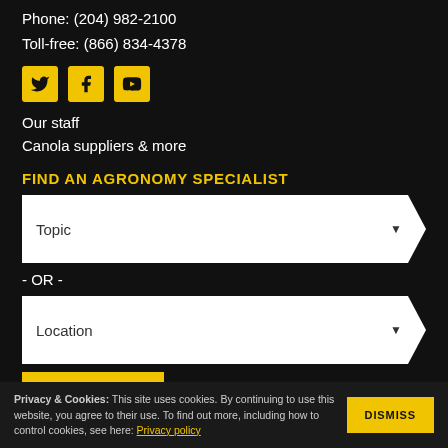Phone: (204) 982-2100
Toll-free: (866) 834-4378
[Figure (other): Social media icons: Twitter, Facebook, YouTube — yellow square backgrounds with black icons]
Our staff
Canola suppliers & more
FIND AN AGRONOMY SPECIALIST
Topic (dropdown)
- OR -
Location (dropdown)
SEARCH (button)
Privacy & Cookies: This site uses cookies. By continuing to use this website, you agree to their use. To find out more, including how to control cookies, see here: Privacy policy